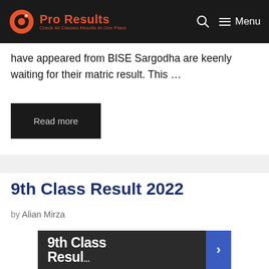Pro Results — Check All Classes Results At One Place
have appeared from BISE Sargodha are keenly waiting for their matric result. This …
Read more
9th Class Result 2022
by Alian Mirza
[Figure (screenshot): 9th Class Result preview image with dark background and blue badge]